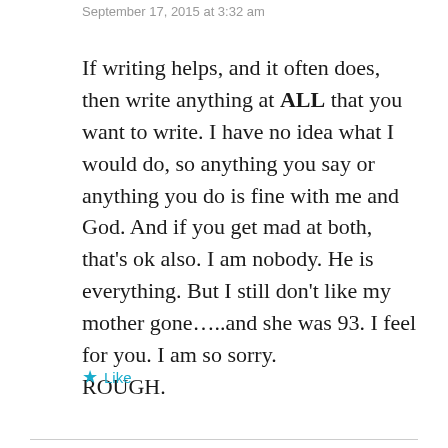September 17, 2015 at 3:32 am
If writing helps, and it often does, then write anything at ALL that you want to write. I have no idea what I would do, so anything you say or anything you do is fine with me and God. And if you get mad at both, that’s ok also. I am nobody. He is everything. But I still don’t like my mother gone….and she was 93. I feel for you. I am so sorry.
ROUGH.
★ Like
Reply